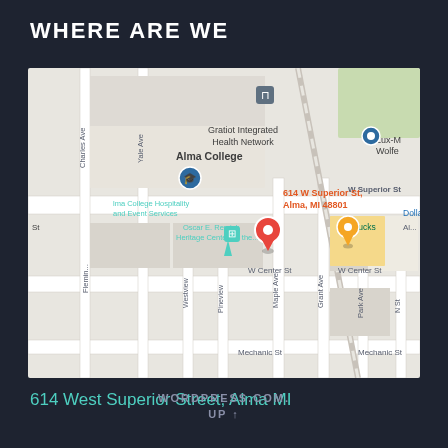WHERE ARE WE
[Figure (map): Google Maps screenshot showing Alma College area in Alma, MI. Map shows streets including W Superior St, W Center St, Maple Ave, Grant Ave, Park Ave, Charles Ave, Yale Ave. Notable locations labeled include Alma College, Gratiot Integrated Health Network, Lux-M Wolfe, alma College Hospitality and Event Services, Oscar E. Remick Heritage Center for the..., a red map pin at 614 W Superior St Alma MI 48801, and a yellow/orange Starbucks pin. A teal/blue heritage pin is also visible.]
614 West Superior Street, Alma MI
WORDPRESS.COM. UP ↑